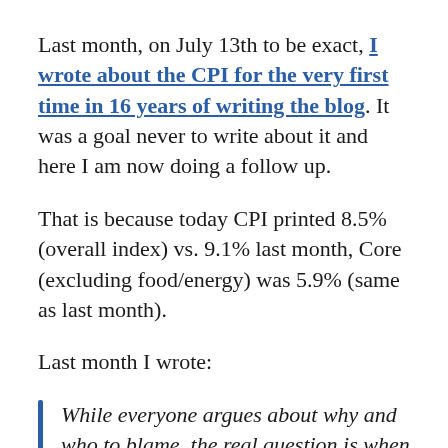Last month, on July 13th to be exact, I wrote about the CPI for the very first time in 16 years of writing the blog. It was a goal never to write about it and here I am now doing a follow up.
That is because today CPI printed 8.5% (overall index) vs. 9.1% last month, Core (excluding food/energy) was 5.9% (same as last month).
Last month I wrote:
While everyone argues about why and who to blame, the real question is when will I be able to stop writing about the damn CPI?